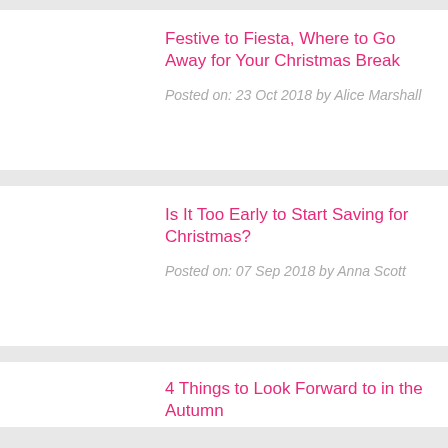Festive to Fiesta, Where to Go Away for Your Christmas Break
Posted on: 23 Oct 2018 by Alice Marshall
Is It Too Early to Start Saving for Christmas?
Posted on: 07 Sep 2018 by Anna Scott
4 Things to Look Forward to in the Autumn